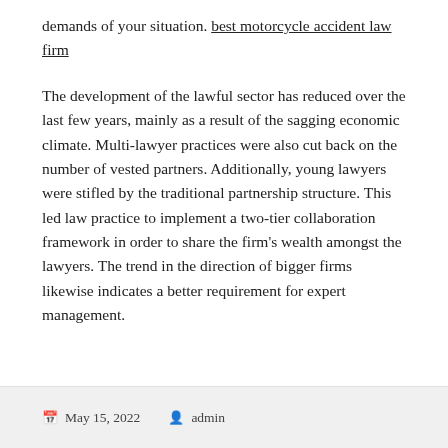demands of your situation. best motorcycle accident law firm
The development of the lawful sector has reduced over the last few years, mainly as a result of the sagging economic climate. Multi-lawyer practices were also cut back on the number of vested partners. Additionally, young lawyers were stifled by the traditional partnership structure. This led law practice to implement a two-tier collaboration framework in order to share the firm's wealth amongst the lawyers. The trend in the direction of bigger firms likewise indicates a better requirement for expert management.
May 15, 2022   admin